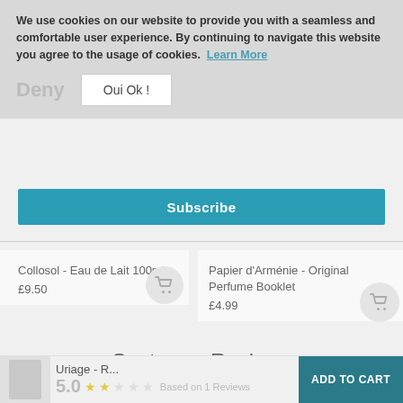We use cookies on our website to provide you with a seamless and comfortable user experience. By continuing to navigate this website you agree to the usage of cookies. Learn More
Deny
Oui Ok !
Subscribe
Collosol - Eau de Lait 100ml £9.50
Papier d'Arménie - Original Perfume Booklet £4.99
Customer Reviews
Uriage - R...
5.0
Based on 1 Reviews
ADD TO CART